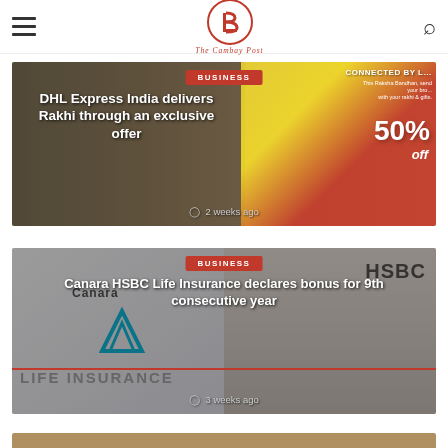The Cambay Post
[Figure (photo): DHL Express India Rakhi delivery promotional image with red and yellow promo overlay showing 50% off]
BUSINESS
DHL Express India delivers Rakhi through an exclusive offer
2 weeks ago
[Figure (photo): Canara HSBC Life Insurance banner with logos]
BUSINESS
Canara HSBC Life Insurance declares bonus for 9th consecutive year
3 weeks ago